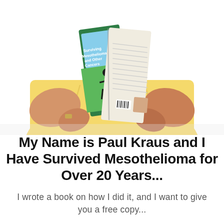[Figure (photo): Elderly man in a yellow polo shirt sitting at a table, holding and reading a book titled 'Surviving Mesothelioma and Other Cancers'. The book cover shows a silhouette of a person with arms outstretched against a scenic background.]
My Name is Paul Kraus and I Have Survived Mesothelioma for Over 20 Years...
I wrote a book on how I did it, and I want to give you a free copy...